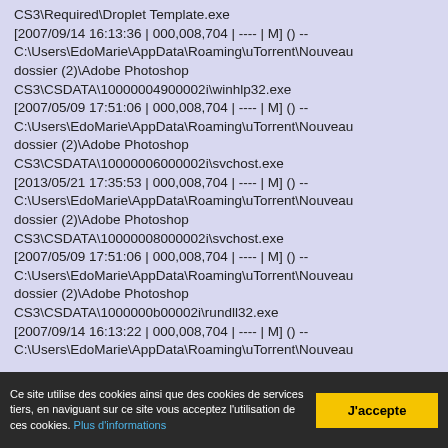CS3\Required\Droplet Template.exe [2007/09/14 16:13:36 | 000,008,704 | ---- | M] () -- C:\Users\EdoMarie\AppData\Roaming\uTorrent\Nouveau dossier (2)\Adobe Photoshop CS3\CSDATA\10000004900002i\winhlp32.exe [2007/05/09 17:51:06 | 000,008,704 | ---- | M] () -- C:\Users\EdoMarie\AppData\Roaming\uTorrent\Nouveau dossier (2)\Adobe Photoshop CS3\CSDATA\10000006000002i\svchost.exe [2013/05/21 17:35:53 | 000,008,704 | ---- | M] () -- C:\Users\EdoMarie\AppData\Roaming\uTorrent\Nouveau dossier (2)\Adobe Photoshop CS3\CSDATA\10000008000002i\svchost.exe [2007/05/09 17:51:06 | 000,008,704 | ---- | M] () -- C:\Users\EdoMarie\AppData\Roaming\uTorrent\Nouveau dossier (2)\Adobe Photoshop CS3\CSDATA\1000000b00002i\rundll32.exe [2007/09/14 16:13:22 | 000,008,704 | ---- | M] () -- C:\Users\EdoMarie\AppData\Roaming\uTorrent\Nouveau
Ce site utilise des cookies ainsi que des cookies de services tiers, en naviguant sur ce site vous acceptez l'utilisation de ces cookies. Plus d'informations